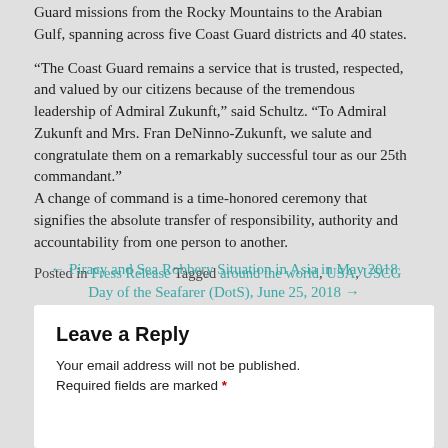Guard missions from the Rocky Mountains to the Arabian Gulf, spanning across five Coast Guard districts and 40 states.
“The Coast Guard remains a service that is trusted, respected, and valued by our citizens because of the tremendous leadership of Admiral Zukunft,” said Schultz. “To Admiral Zukunft and Mrs. Fran DeNinno-Zukunft, we salute and congratulate them on a remarkably successful tour as our 25th commandant.” A change of command is a time-honored ceremony that signifies the absolute transfer of responsibility, authority and accountability from one person to another.
Posted in Press Release Tagged around the world, USA, USCG
← Piracy and Sea Robbery Situation in Asia in May 2018
Day of the Seafarer (DotS), June 25, 2018 →
Leave a Reply
Your email address will not be published.
Required fields are marked *